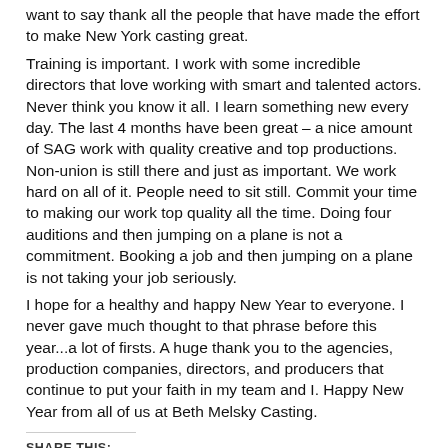want to say thank all the people that have made the effort to make New York casting great. Training is important. I work with some incredible directors that love working with smart and talented actors. Never think you know it all. I learn something new every day. The last 4 months have been great – a nice amount of SAG work with quality creative and top productions. Non-union is still there and just as important. We work hard on all of it. People need to sit still. Commit your time to making our work top quality all the time. Doing four auditions and then jumping on a plane is not a commitment. Booking a job and then jumping on a plane is not taking your job seriously. I hope for a healthy and happy New Year to everyone. I never gave much thought to that phrase before this year...a lot of firsts. A huge thank you to the agencies, production companies, directors, and producers that continue to put your faith in my team and I. Happy New Year from all of us at Beth Melsky Casting.
SHARE THIS:
[Figure (other): Social share buttons for Twitter and Facebook]